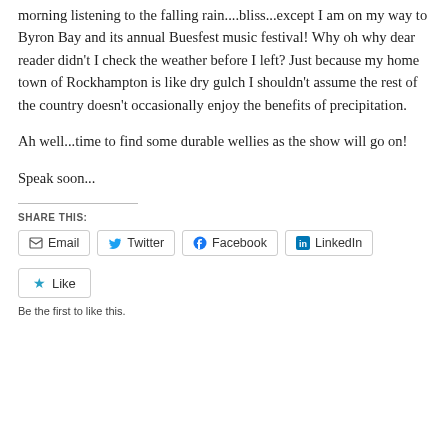morning listening to the falling rain....bliss...except I am on my way to Byron Bay and its annual Buesfest music festival! Why oh why dear reader didn't I check the weather before I left? Just because my home town of Rockhampton is like dry gulch I shouldn't assume the rest of the country doesn't occasionally enjoy the benefits of precipitation.
Ah well...time to find some durable wellies as the show will go on!
Speak soon...
SHARE THIS:
Email  Twitter  Facebook  LinkedIn
Like
Be the first to like this.